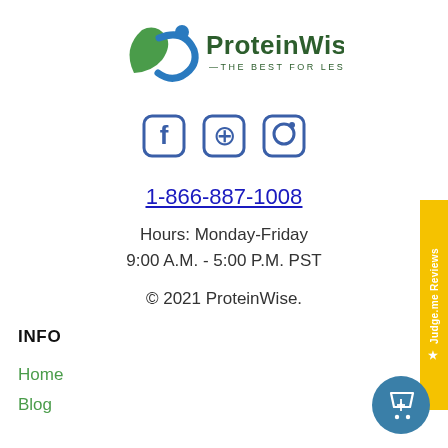[Figure (logo): ProteinWise logo with leaf and figure graphic, tagline THE BEST FOR LESS]
[Figure (infographic): Social media icons: Facebook, Pinterest, Instagram]
1-866-887-1008
Hours: Monday-Friday
9:00 A.M. - 5:00 P.M. PST
© 2021 ProteinWise.
INFO
Home
Blog